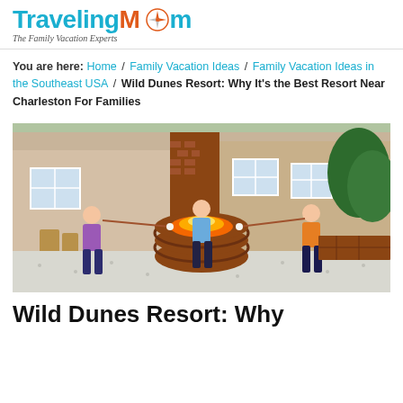TravelingMom – The Family Vacation Experts
You are here: Home / Family Vacation Ideas / Family Vacation Ideas in the Southeast USA / Wild Dunes Resort: Why It's the Best Resort Near Charleston For Families
[Figure (photo): Three children roasting marshmallows around a circular brick fire pit on a white gravel patio, with a large house in the background]
Wild Dunes Resort: Why